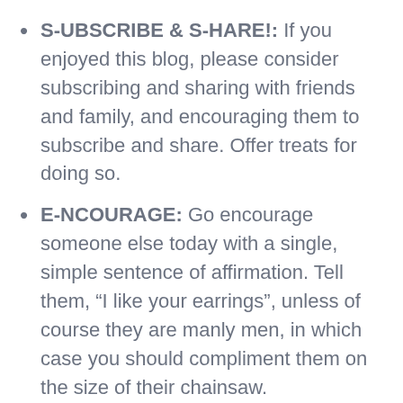S-UBSCRIBE & S-HARE!: If you enjoyed this blog, please consider subscribing and sharing with friends and family, and encouraging them to subscribe and share.  Offer treats for doing so.
E-NCOURAGE: Go encourage someone else today with a single, simple sentence of affirmation.  Tell them, “I like your earrings”, unless of course they are manly men, in which case you should compliment them on the size of their chainsaw.
C-OMMENT: I want to hear from you. Please feel free to comment below!  Comments with lots of “You’re